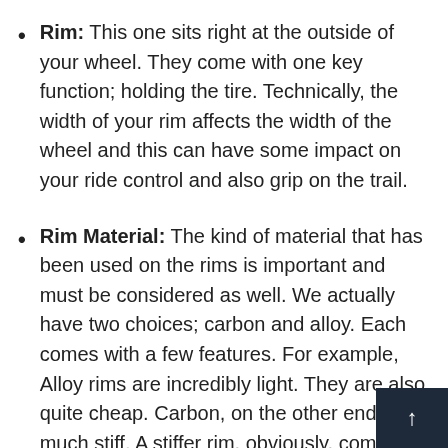Rim: This one sits right at the outside of your wheel. They come with one key function; holding the tire. Technically, the width of your rim affects the width of the wheel and this can have some impact on your ride control and also grip on the trail.
Rim Material: The kind of material that has been used on the rims is important and must be considered as well. We actually have two choices; carbon and alloy. Each comes with a few features. For example, Alloy rims are incredibly light. They are also quite cheap. Carbon, on the other end, is much stiff. A stiffer rim, obviously, comes advantages. It offers great power. So whe